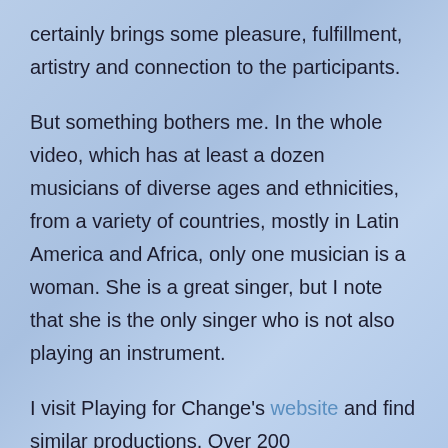certainly brings some pleasure, fulfillment, artistry and connection to the participants.
But something bothers me. In the whole video, which has at least a dozen musicians of diverse ages and ethnicities, from a variety of countries, mostly in Latin America and Africa, only one musician is a woman. She is a great singer, but I note that she is the only singer who is not also playing an instrument.
I visit Playing for Change's website and find similar productions. Over 200